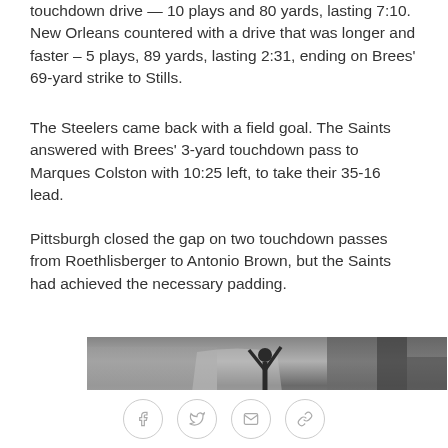touchdown drive — 10 plays and 80 yards, lasting 7:10. New Orleans countered with a drive that was longer and faster – 5 plays, 89 yards, lasting 2:31, ending on Brees' 69-yard strike to Stills.
The Steelers came back with a field goal. The Saints answered with Brees' 3-yard touchdown pass to Marques Colston with 10:25 left, to take their 35-16 lead.
Pittsburgh closed the gap on two touchdown passes from Roethlisberger to Antonio Brown, but the Saints had achieved the necessary padding.
[Figure (photo): Black and white photo of a person stretching/dancing with arms raised, in what appears to be an indoor setting with architectural elements visible in the background.]
Social share icons: Facebook, Twitter, Email, Link